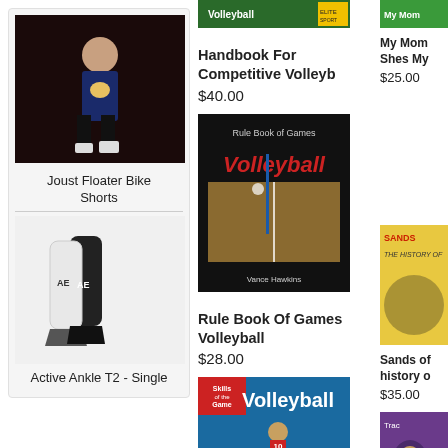[Figure (photo): Female volleyball player posing in athletic uniform against dark background]
Joust Floater Bike Shorts
[Figure (photo): Active Ankle T2 brace in black and white]
Active Ankle T2 - Single
[Figure (photo): Book cover: Handbook For Competitive Volleyb]
Handbook For Competitive Volleyb
$40.00
[Figure (photo): Book cover: Rule Book Of Games Volleyball by Vance Hawkins]
Rule Book Of Games Volleyball
$28.00
[Figure (photo): Book cover: Volleyball - Skills of the Game series]
[Figure (photo): Book cover: My Mom Shes My...]
My Mom Shes My
$25.00
[Figure (photo): Book cover: Sands of - The History of...]
Sands of history o
$35.00
[Figure (photo): Partially visible book cover on right edge bottom]